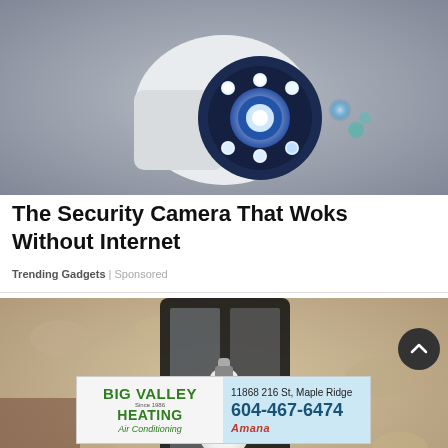[Figure (photo): A white PTZ security camera with blue LED lights mounted on a wall, photographed from below against a grey background.]
The Security Camera That Woks Without Internet
Trending Gadgets | Sponsored
[Figure (photo): A white smart light bulb installed in a black outdoor lantern fixture mounted on a textured stucco wall.]
[Figure (photo): Big Valley Heating and Air Conditioning advertisement banner. Left side shows logo text: BIG VALLEY Since 1986 HEATING Air Conditioning. Right side shows address: 11868 216 St, Maple Ridge, phone: 604-467-6474, and Amana logo.]